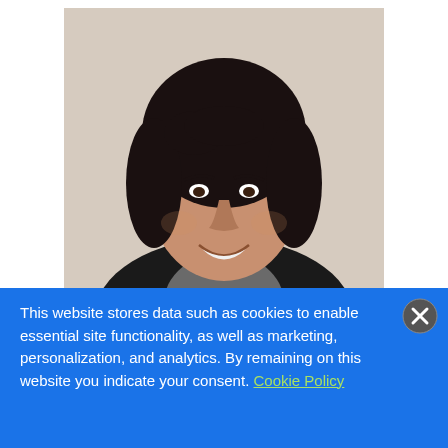[Figure (photo): Headshot of Indira Bhatt, a woman with dark curly hair, smiling, wearing a dark blazer over a grey top, against a light background.]
We are delighted to announce that Indira Bhatt acted as our OpenChain
This website stores data such as cookies to enable essential site functionality, as well as marketing, personalization, and analytics. By remaining on this website you indicate your consent. Cookie Policy